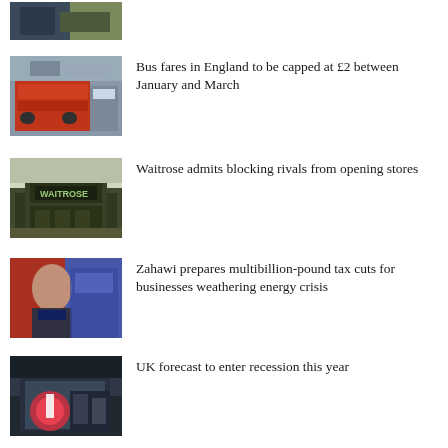[Figure (photo): Partial thumbnail image at the very top of the page, mostly cropped off]
Bus fares in England to be capped at £2 between January and March
Waitrose admits blocking rivals from opening stores
Zahawi prepares multibillion-pound tax cuts for businesses weathering energy crisis
UK forecast to enter recession this year
Soaring US dollar pushes pound to biggest monthly fall since 2016